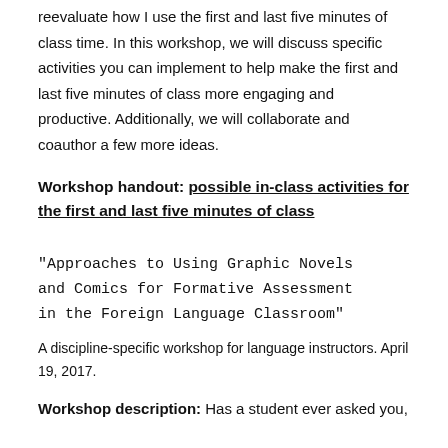reevaluate how I use the first and last five minutes of class time. In this workshop, we will discuss specific activities you can implement to help make the first and last five minutes of class more engaging and productive. Additionally, we will collaborate and coauthor a few more ideas.
Workshop handout: possible in-class activities for the first and last five minutes of class
“Approaches to Using Graphic Novels and Comics for Formative Assessment in the Foreign Language Classroom”
A discipline-specific workshop for language instructors. April 19, 2017.
Workshop description: Has a student ever asked you,